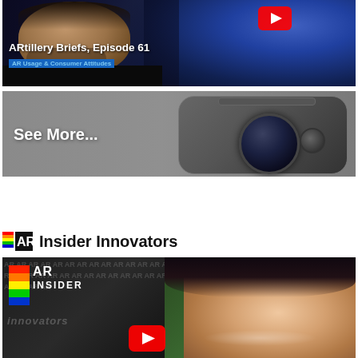[Figure (screenshot): Video thumbnail for ARtillery Briefs Episode 61 - AR Usage & Consumer Attitudes, showing a man with a beard and YouTube play button icon]
[Figure (screenshot): Banner image showing camera lens with text 'See More...' on a grey background]
[Figure (logo): AR Insider logo (colorful stripes with AR text) followed by 'Insider Innovators' section heading]
[Figure (screenshot): Video thumbnail for AR Insider Innovators series showing the AR Insider Innovators logo on left and a woman smiling on right with YouTube play button]